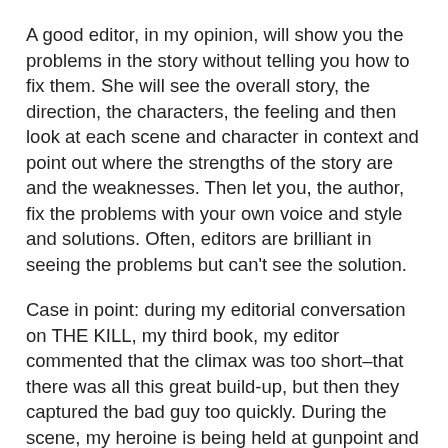A good editor, in my opinion, will show you the problems in the story without telling you how to fix them. She will see the overall story, the direction, the characters, the feeling and then look at each scene and character in context and point out where the strengths of the story are and the weaknesses. Then let you, the author, fix the problems with your own voice and style and solutions. Often, editors are brilliant in seeing the problems but can't see the solution.
Case in point: during my editorial conversation on THE KILL, my third book, my editor commented that the climax was too short–that there was all this great build-up, but then they captured the bad guy too quickly. During the scene, my heroine is being held at gunpoint and forced to drive the car to help the bad guy escape. The hero and another cop are following. My editor suggested to prolong the scene, my heroine should go for the gun.
The thing is, my heroine would NEVER go for the gun. It's not in her character and to have her do so would IMO cheapen...